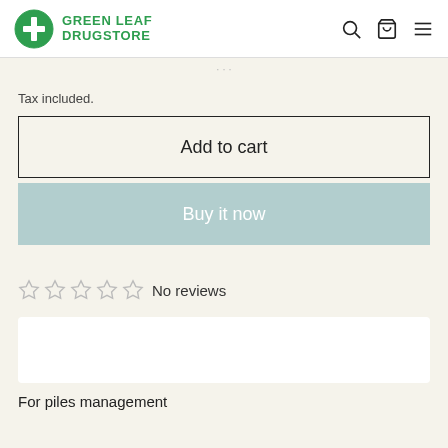GREEN LEAF DRUGSTORE
Tax included.
Add to cart
Buy it now
☆ ☆ ☆ ☆ ☆  No reviews
For piles management